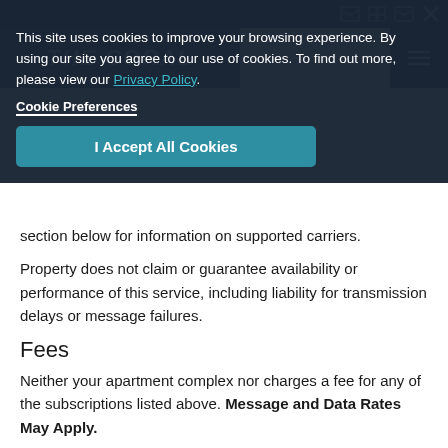THE CORAL [website nav bar with icons]
[Figure (screenshot): Cookie consent overlay on a website. Dark background with white text saying: 'This site uses cookies to improve your browsing experience. By using our site you agree to our use of cookies. To find out more, please view our Privacy Policy.' Below is a 'Cookie Preferences' link and an 'I Accept All Cookies' button in teal.]
section below for information on supported carriers.
Property does not claim or guarantee availability or performance of this service, including liability for transmission delays or message failures.
Fees
Neither your apartment complex nor charges a fee for any of the subscriptions listed above. Message and Data Rates May Apply.